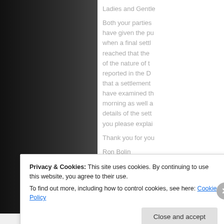Ladies and Gentle
Both your parties have given the pu when a final settl reached that the of the nature of t reported in the D that a settlement have examined th morning as well a details of the sett you please explai
Thank you for you
Ron Bolin
Privacy & Cookies: This site uses cookies. By continuing to use this website, you agree to their use.
To find out more, including how to control cookies, see here: Cookie Policy